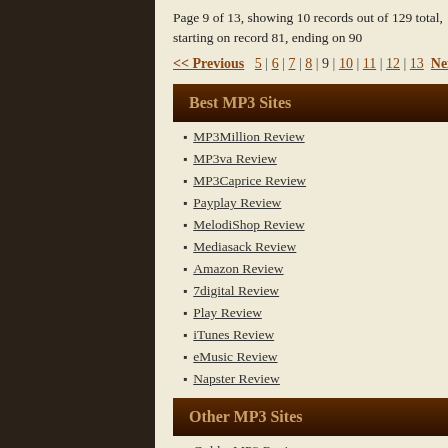Page 9 of 13, showing 10 records out of 129 total, starting on record 81, ending on 90
<< Previous  5 | 6 | 7 | 8 | 9 | 10 | 11 | 12 | 13  Next >>
Best MP3 Sites
MP3Million Review
MP3va Review
MP3Caprice Review
Payplay Review
MelodiShop Review
Mediasack Review
Amazon Review
7digital Review
Play Review
iTunes Review
eMusic Review
Napster Review
Other MP3 Sites
GoldenMP3 Review
GoMusicNow Review
GrooveBay Review